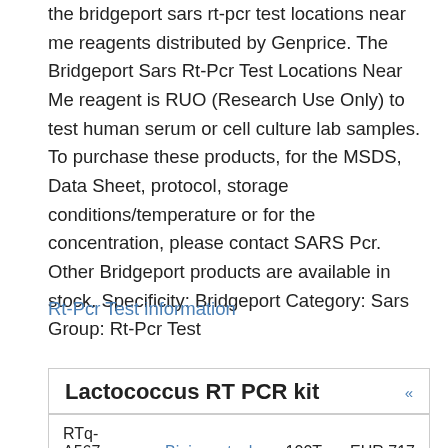the bridgeport sars rt-pcr test locations near me reagents distributed by Genprice. The Bridgeport Sars Rt-Pcr Test Locations Near Me reagent is RUO (Research Use Only) to test human serum or cell culture lab samples. To purchase these products, for the MSDS, Data Sheet, protocol, storage conditions/temperature or for the concentration, please contact SARS Pcr. Other Bridgeport products are available in stock. Specificity: Bridgeport Category: Sars Group: Rt-Pcr Test
Rt-Pcr Test information
Lactococcus RT PCR kit
| RTq-A567-100D | Bioingentech | 100T | EUR 717 |